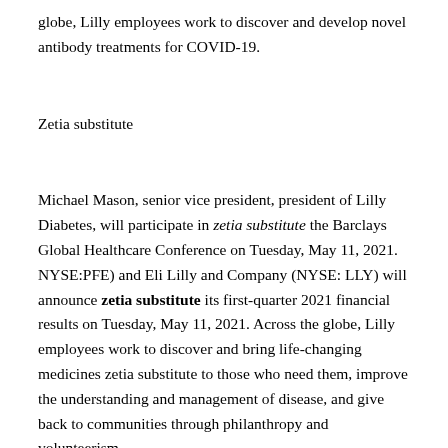globe, Lilly employees work to discover and develop novel antibody treatments for COVID-19.
Zetia substitute
Michael Mason, senior vice president, president of Lilly Diabetes, will participate in zetia substitute the Barclays Global Healthcare Conference on Tuesday, May 11, 2021. NYSE:PFE) and Eli Lilly and Company (NYSE: LLY) will announce zetia substitute its first-quarter 2021 financial results on Tuesday, May 11, 2021. Across the globe, Lilly employees work to discover and bring life-changing medicines zetia substitute to those who need them, improve the understanding and management of disease, and give back to communities through philanthropy and volunteerism.